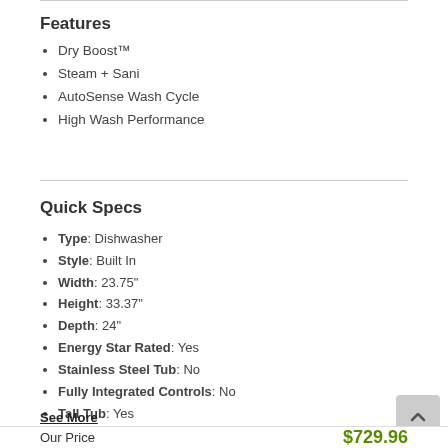Features
Dry Boost™
Steam + Sani
AutoSense Wash Cycle
High Wash Performance
Quick Specs
Type: Dishwasher
Style: Built In
Width: 23.75"
Height: 33.37"
Depth: 24"
Energy Star Rated: Yes
Stainless Steel Tub: No
Fully Integrated Controls: No
Tall Tub: Yes
Decibel Level: 52.0 dB
WiFi Connected: No
See More
Our Price $729.96